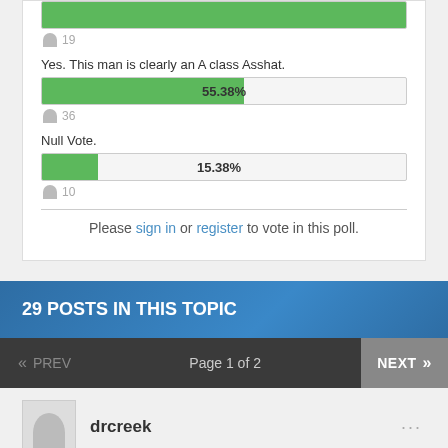[Figure (bar-chart): Poll Results]
Please sign in or register to vote in this poll.
29 POSTS IN THIS TOPIC
Page 1 of 2
drcreek